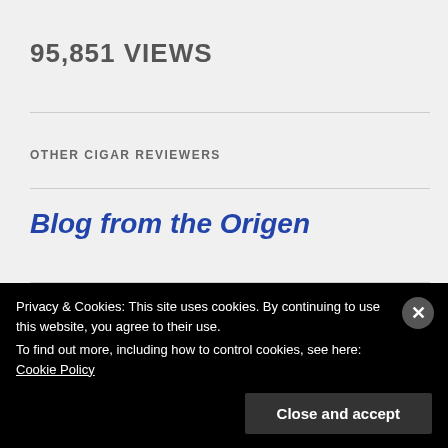95,851 VIEWS
OTHER CIGAR REVIEWERS
Blog from the Origen
Cigar Guide Blog
Privacy & Cookies: This site uses cookies. By continuing to use this website, you agree to their use.
To find out more, including how to control cookies, see here: Cookie Policy
Close and accept